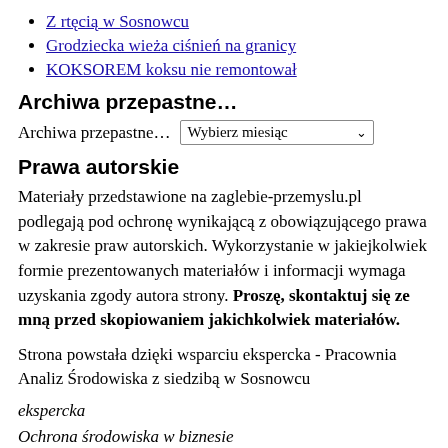Z rtęcią w Sosnowcu
Grodziecka wieża ciśnień na granicy
KOKSOREM koksu nie remontował
Archiwa przepastne…
Archiwa przepastne… Wybierz miesiąc
Prawa autorskie
Materiały przedstawione na zaglebie-przemyslu.pl podlegają pod ochronę wynikającą z obowiązującego prawa w zakresie praw autorskich. Wykorzystanie w jakiejkolwiek formie prezentowanych materiałów i informacji wymaga uzyskania zgody autora strony. Proszę, skontaktuj się ze mną przed skopiowaniem jakichkolwiek materiałów.
Strona powstała dzięki wsparciu ekspercka - Pracownia Analiz Środowiska z siedzibą w Sosnowcu
ekspercka
Ochrona środowiska w biznesie
S…